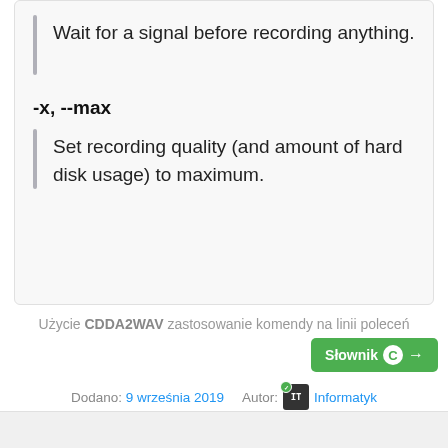Wait for a signal before recording anything.
-x, --max
Set recording quality (and amount of hard disk usage) to maximum.
Użycie CDDA2WAV zastosowanie komendy na linii poleceń
Słownik C →
Dodano: 9 września 2019   Autor: IT Informatyk
👍 Lubię to!
Udostępnij